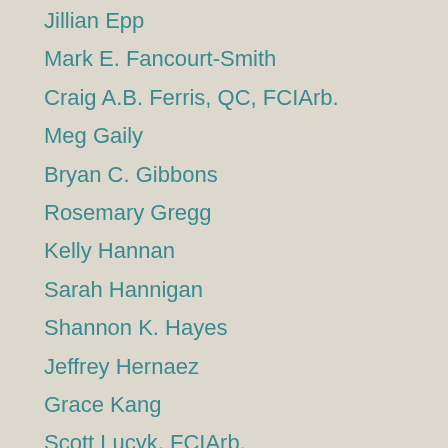Jillian Epp
Mark E. Fancourt-Smith
Craig A.B. Ferris, QC, FCIArb.
Meg Gaily
Bryan C. Gibbons
Rosemary Gregg
Kelly Hannan
Sarah Hannigan
Shannon K. Hayes
Jeffrey Hernaez
Grace Kang
Scott Lucyk, FCIArb.
Andrea Lutsch
Alastair MacKinnon